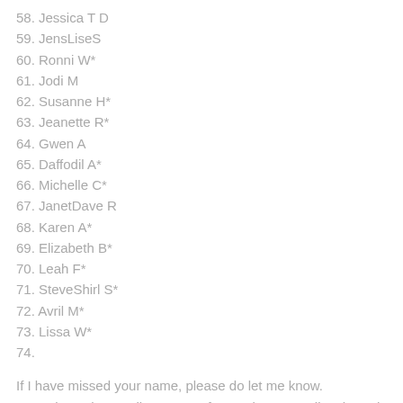58. Jessica T D
59. JensLiseS
60. Ronni W*
61. Jodi M
62. Susanne H*
63. Jeanette R*
64. Gwen A
65. Daffodil A*
66. Michelle C*
67. JanetDave R
68. Karen A*
69. Elizabeth B*
70. Leah F*
71. SteveShirl S*
72. Avril M*
73. Lissa W*
74.
If I have missed your name, please do let me know.  Sometimes the emails come so fast and a name slips through the cracks!